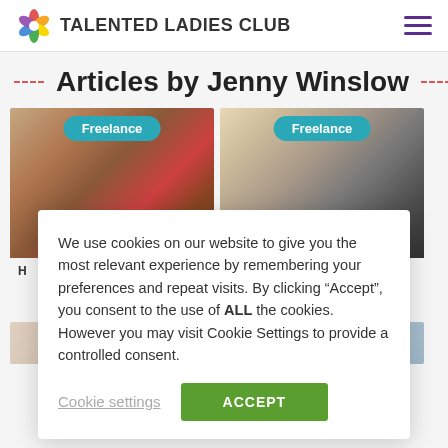TALENTED LADIES CLUB
Articles by Jenny Winslow
[Figure (photo): Woman with sunglasses sitting in a red chair, freelance article card with 'Freelance' badge]
[Figure (photo): Woman working at a desk in a home office, freelance article card with 'Freelance' badge]
We use cookies on our website to give you the most relevant experience by remembering your preferences and repeat visits. By clicking “Accept”, you consent to the use of ALL the cookies. However you may visit Cookie Settings to provide a controlled consent.
Cookie settings
ACCEPT
[Figure (photo): Bottom card with Career badge]
[Figure (photo): Bottom card with Freelance badge]